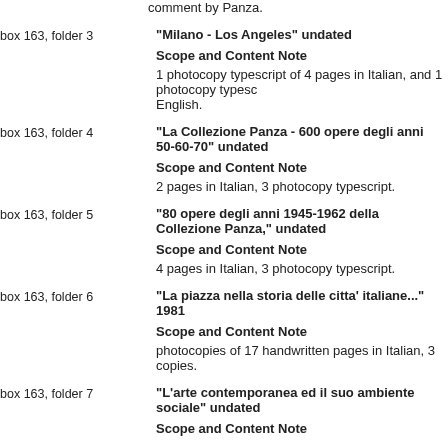comment by Panza.
box 163, folder 3 | "Milano - Los Angeles" undated | Scope and Content Note | 1 photocopy typescript of 4 pages in Italian, and 1 photocopy typescript in English.
box 163, folder 4 | "La Collezione Panza - 600 opere degli anni 50-60-70" undated | Scope and Content Note | 2 pages in Italian, 3 photocopy typescript.
box 163, folder 5 | "80 opere degli anni 1945-1962 della Collezione Panza," undated | Scope and Content Note | 4 pages in Italian, 3 photocopy typescript.
box 163, folder 6 | "La piazza nella storia delle citta' italiane..." 1981 | Scope and Content Note | photocopies of 17 handwritten pages in Italian, 3 copies.
box 163, folder 7 | "L'arte contemporanea ed il suo ambiente sociale" undated | Scope and Content Note